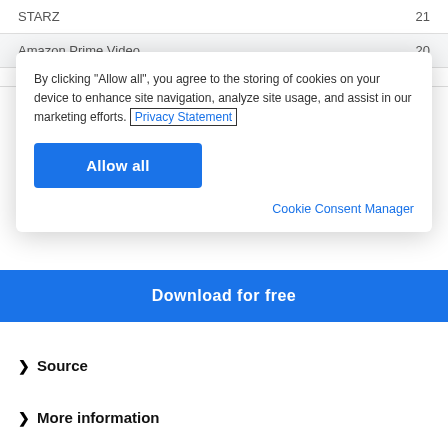| Service | Count |
| --- | --- |
| STARZ | 21 |
| Amazon Prime Video | 20 |
[Figure (screenshot): Cookie consent dialog overlay with text 'By clicking "Allow all", you agree to the storing of cookies on your device to enhance site navigation, analyze site usage, and assist in our marketing efforts. Privacy Statement', an 'Allow all' blue button, and a 'Cookie Consent Manager' link.]
Download for free
Source
More information